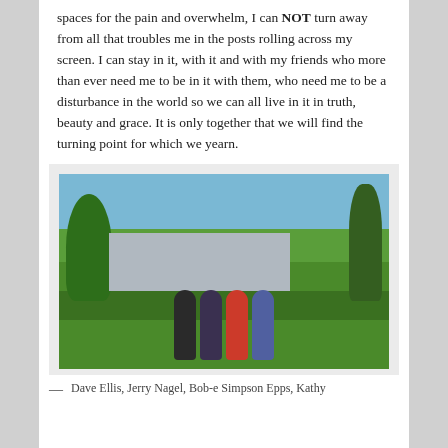spaces for the pain and overwhelm, I can NOT turn away from all that troubles me in the posts rolling across my screen. I can stay in it, with it and with my friends who more than ever need me to be in it with them, who need me to be a disturbance in the world so we can all live in it in truth, beauty and grace. It is only together that we will find the turning point for which we yearn.
[Figure (photo): Four people standing outdoors on a grass lawn in front of a house with trees in the background. From left to right: a man in a dark shirt, a man in a blue shirt, a woman in a red top with floral skirt, and a woman in a blue sleeveless top.]
— Dave Ellis, Jerry Nagel, Bob-e Simpson Epps, Kathy